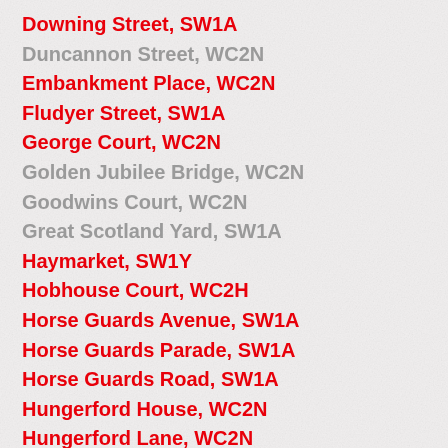Downing Street, SW1A
Duncannon Street, WC2N
Embankment Place, WC2N
Fludyer Street, SW1A
George Court, WC2N
Golden Jubilee Bridge, WC2N
Goodwins Court, WC2N
Great Scotland Yard, SW1A
Haymarket, SW1Y
Hobhouse Court, WC2H
Horse Guards Avenue, SW1A
Horse Guards Parade, SW1A
Horse Guards Road, SW1A
Hungerford House, WC2N
Hungerford Lane, WC2N
John Adam Street, WC2N
King Charles Street, SW1A
King Street, SW1A
Kinnaird House, SW1Y